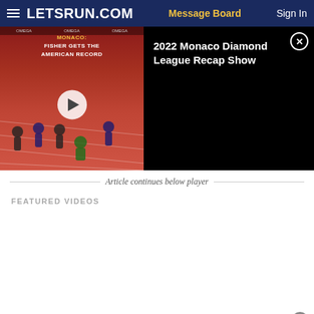≡  LETSRUN.COM    Message Board    Sign In
[Figure (screenshot): Video thumbnail showing track runners with overlay text: MONACO: FISHER GETS THE AMERICAN RECORD, with play button]
2022 Monaco Diamond League Recap Show
Article continues below player
FEATURED VIDEOS
[Figure (other): Advertisement area at bottom of page with close button]